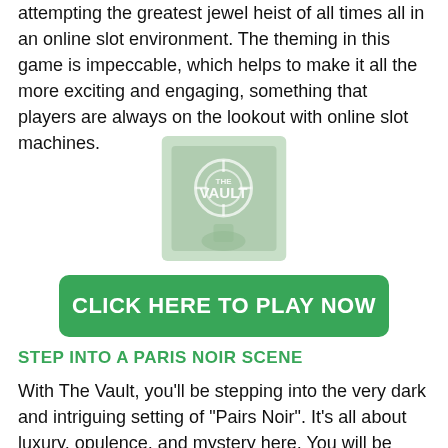attempting the greatest jewel heist of all times all in an online slot environment. The theming in this game is impeccable, which helps to make it all the more exciting and engaging, something that players are always on the lookout with online slot machines.
[Figure (illustration): The Vault slot game logo image - green background with vault imagery and 'THE VAULT' text in white]
CLICK HERE TO PLAY NOW
STEP INTO A PARIS NOIR SCENE
With The Vault, you'll be stepping into the very dark and intriguing setting of "Pairs Noir". It's all about luxury, opulence, and mystery here. You will be playing as Jewel, who is a burglar with one goal - to break into